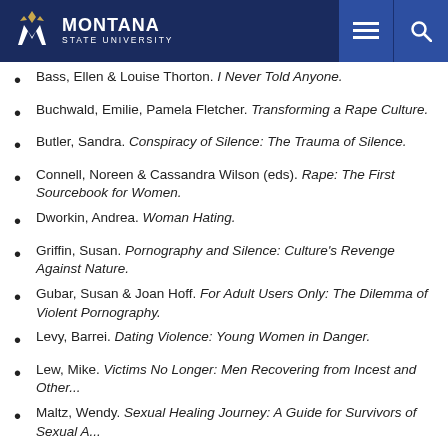Montana State University
Bass, Ellen & Louise Thorton. I Never Told Anyone.
Buchwald, Emilie, Pamela Fletcher. Transforming a Rape Culture.
Butler, Sandra. Conspiracy of Silence: The Trauma of Silence.
Connell, Noreen & Cassandra Wilson (eds). Rape: The First Sourcebook for Women.
Dworkin, Andrea. Woman Hating.
Griffin, Susan. Pornography and Silence: Culture's Revenge Against Nature.
Gubar, Susan & Joan Hoff. For Adult Users Only: The Dilemma of Violent Pornography.
Levy, Barrei. Dating Violence: Young Women in Danger.
Lew, Mike. Victims No Longer: Men Recovering from Incest and Other...
Maltz, Wendy. Sexual Healing Journey: A Guide for Survivors of Sexual A...